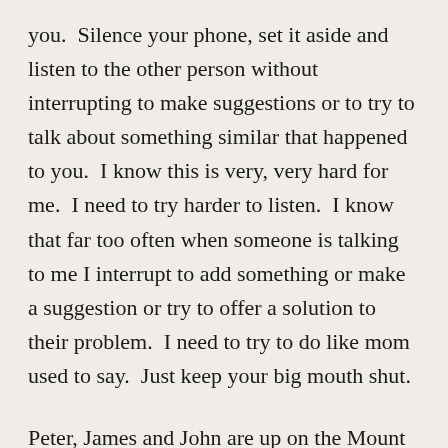you.  Silence your phone, set it aside and listen to the other person without interrupting to make suggestions or to try to talk about something similar that happened to you.  I know this is very, very hard for me.  I need to try harder to listen.  I know that far too often when someone is talking to me I interrupt to add something or make a suggestion or try to offer a solution to their problem.  I need to try to do like mom used to say.  Just keep your big mouth shut.
Peter, James and John are up on the Mount of Transfiguration.  They are seeing the glory of God radiating from Jesus as his face shines like the sun